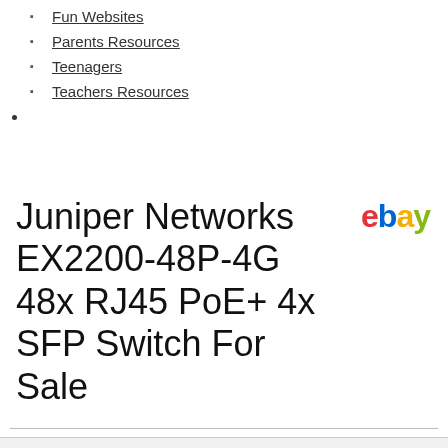Fun Websites
Parents Resources
Teenagers
Teachers Resources
[Figure (logo): eBay logo in red, blue, yellow, and green text]
Juniper Networks EX2200-48P-4G 48x RJ45 PoE+ 4x SFP Switch For Sale